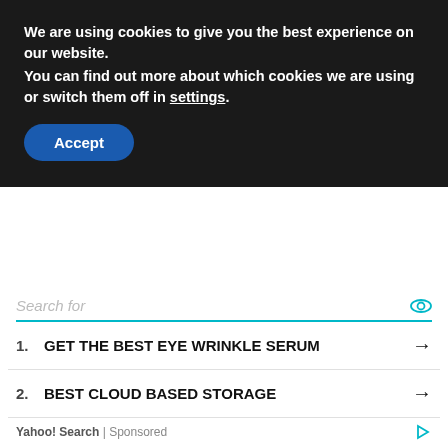We are using cookies to give you the best experience on our website.
You can find out more about which cookies we are using or switch them off in settings.
Accept
[Figure (photo): Advertisement banner showing cargo handlers on tarmac with boxes, text reading ANYTIME. ANYWHERE. ANYONE IN NEED.]
[Figure (other): Search widget with 'Search for' label, two sponsored search results: 1. GET THE BEST EYE WRINKLE SERUM, 2. BEST CLOUD BASED STORAGE, Yahoo! Search | Sponsored footer]